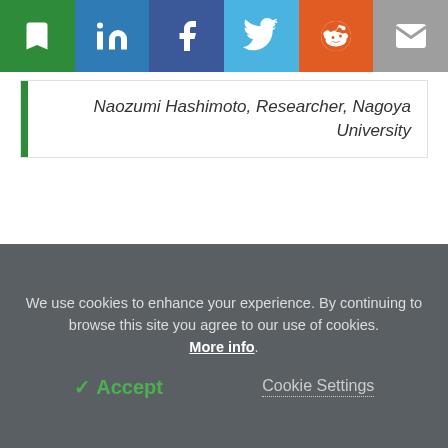[Figure (other): Social sharing toolbar with bookmark (green), LinkedIn (blue), Facebook (dark blue), Twitter (light blue), Reddit (orange), and email (grey) buttons]
Naozumi Hashimoto, Researcher, Nagoya University
The team next plans to further investigate how meflin protects lungs from fibrosis and if meflin-positive cells can be used to diagnose and treat IPF.
Source:
Nagoya University
We use cookies to enhance your experience. By continuing to browse this site you agree to our use of cookies. More info.
✔ Accept
Cookie Settings